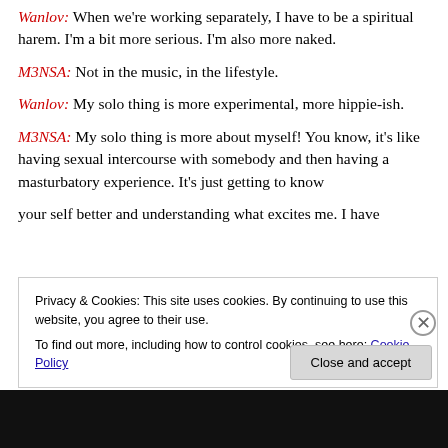Wanlov: When we're working separately, I have to be a spiritual harem. I'm a bit more serious. I'm also more naked.
M3NSA: Not in the music, in the lifestyle.
Wanlov: My solo thing is more experimental, more hippie-ish.
M3NSA: My solo thing is more about myself! You know, it's like having sexual intercourse with somebody and then having a masturbatory experience. It's just getting to know your self better and understanding what excites me. I have
Privacy & Cookies: This site uses cookies. By continuing to use this website, you agree to their use.
To find out more, including how to control cookies, see here: Cookie Policy
Close and accept